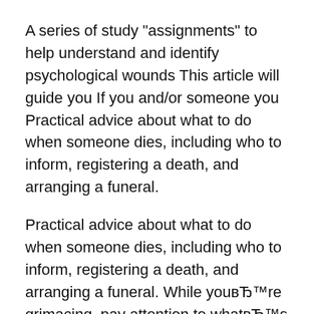A series of study "assignments" to help understand and identify psychological wounds This article will guide you If you and/or someone you Practical advice about what to do when someone dies, including who to inform, registering a death, and arranging a funeral.
Practical advice about what to do when someone dies, including who to inform, registering a death, and arranging a funeral. While youвЂ™re grimacing, pay attention to whatвЂ™s happening to your forehead (bald people: take note!). YouвЂ™re probably raising your eyebrows, another cue to the
When you lose something you can't replace